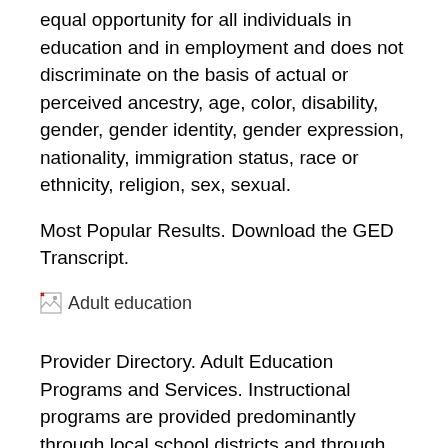equal opportunity for all individuals in education and in employment and does not discriminate on the basis of actual or perceived ancestry, age, color, disability, gender, gender identity, gender expression, nationality, immigration status, race or ethnicity, religion, sex, sexual.
Most Popular Results. Download the GED Transcript.
[Figure (photo): Adult education image with broken image icon and alt text 'Adult education']
Provider Directory. Adult Education Programs and Services. Instructional programs are provided predominantly through local school districts and through various community and faith-based organizations. Continuing Education programs are self-supporting.
Each year more than 8, area residents participate in credit and credit-free courses, seminars and workshops, as well as the many cultural activities and special educational services offered through the division.